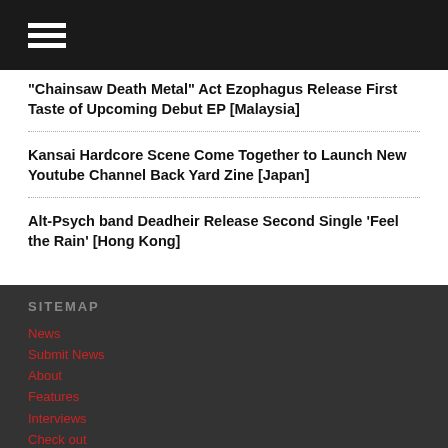"Chainsaw Death Metal" Act Ezophagus Release First Taste of Upcoming Debut EP [Malaysia]
Kansai Hardcore Scene Come Together to Launch New Youtube Channel Back Yard Zine [Japan]
Alt-Psych band Deadheir Release Second Single ‘Feel the Rain’ [Hong Kong]
SITEMAP
News
Submit News
About
Features
Interviews
Check out
Premiere
Featured
Columns
Scene Report
Tour Report